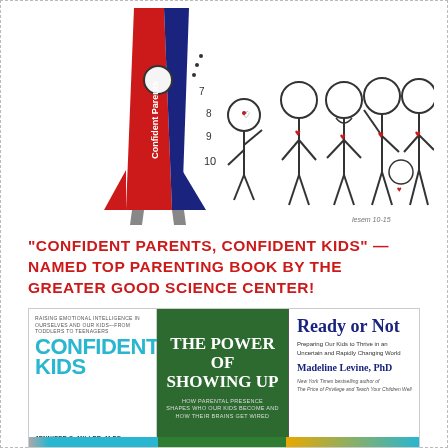[Figure (illustration): Cartoon illustration of a rocket labeled 'Confident Parents' on the left, with numbers 7, 8, 9, 10 floating beside it. To the right are five hand-drawn figures of smiling parents and children, each with a small red heart on their chest. Artist signature 'lesem 10-15' in bottom right corner.]
"CONFIDENT PARENTS, CONFIDENT KIDS" — NAMED TOP PARENTING BOOK BY THE GREATER GOOD SCIENCE CENTER!
[Figure (photo): Photo collage of three book covers side by side: 'Confident Kids' by Jennifer S. Miller M.Ed., 'The Power of Showing Up' (green cover), and 'Ready or Not: Preparing Our Kids to Thrive in an Uncertain and Rapidly Changing World' by Madeline Levine PhD.]